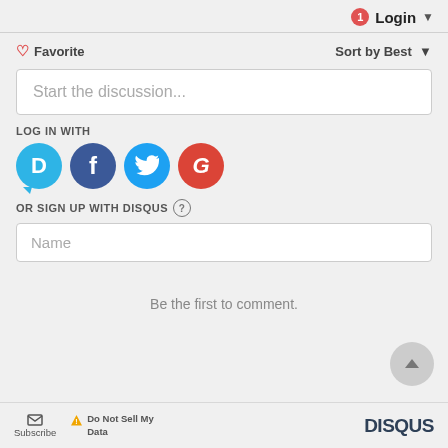1 Login ▾
♡ Favorite    Sort by Best ▾
Start the discussion...
LOG IN WITH
[Figure (screenshot): Social login icons: Disqus (D), Facebook (f), Twitter bird, Google (G)]
OR SIGN UP WITH DISQUS ?
Name
Be the first to comment.
Subscribe   ⚠ Do Not Sell My Data   DISQUS